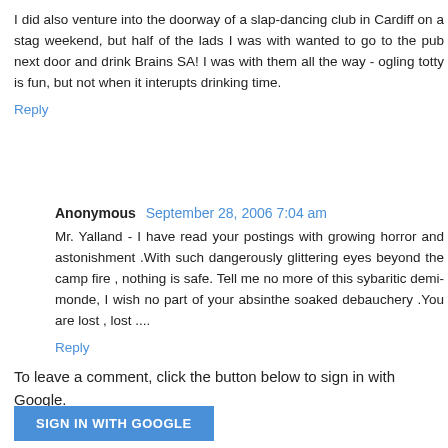I did also venture into the doorway of a slap-dancing club in Cardiff on a stag weekend, but half of the lads I was with wanted to go to the pub next door and drink Brains SA! I was with them all the way - ogling totty is fun, but not when it interupts drinking time.
Reply
Anonymous  September 28, 2006 7:04 am
Mr. Yalland - I have read your postings with growing horror and astonishment .With such dangerously glittering eyes beyond the camp fire , nothing is safe. Tell me no more of this sybaritic demi-monde, I wish no part of your absinthe soaked debauchery .You are lost , lost ....
Reply
To leave a comment, click the button below to sign in with Google.
SIGN IN WITH GOOGLE